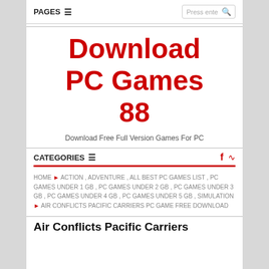PAGES ☰  |  Press ente 🔍
Download PC Games 88
Download Free Full Version Games For PC
CATEGORIES ☰
HOME ▶ ACTION , ADVENTURE , ALL BEST PC GAMES LIST , PC GAMES UNDER 1 GB , PC GAMES UNDER 2 GB , PC GAMES UNDER 3 GB , PC GAMES UNDER 4 GB , PC GAMES UNDER 5 GB , SIMULATION ▶ AIR CONFLICTS PACIFIC CARRIERS PC GAME FREE DOWNLOAD
Air Conflicts Pacific Carriers